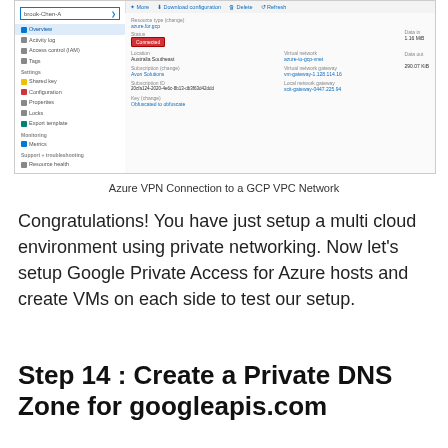[Figure (screenshot): Screenshot of Azure portal showing a VPN Connection resource with status 'Connected' highlighted in a red box. The left sidebar shows navigation items including Overview, Activity log, Access control, Tags, Settings (Shared key, Configuration, Properties, Locks, Export template), Monitoring (Metrics), Support + troubleshooting (Resource health, VPN troubleshoot, New support request). The main pane shows connection details including Resource type, Status (Connected), Location (Australia Southeast), Subscription, Subscription ID, Key, Virtual network, Virtual network gateway, Local network gateway fields.]
Azure VPN Connection to a GCP VPC Network
Congratulations! You have just setup a multi cloud environment using private networking. Now let’s setup Google Private Access for Azure hosts and create VMs on each side to test our setup.
Step 14 : Create a Private DNS Zone for googleapis.com